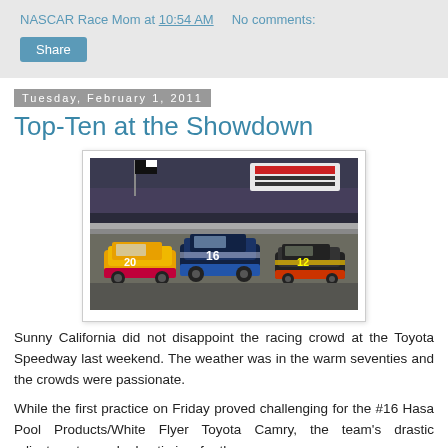NASCAR Race Mom at 10:54 AM   No comments:
Share
Tuesday, February 1, 2011
Top-Ten at the Showdown
[Figure (photo): NASCAR race cars on a track at night, cars numbered 20, 16, and 12 racing side by side on a banked oval track with spectators and banners in the background.]
Sunny California did not disappoint the racing crowd at the Toyota Speedway last weekend. The weather was in the warm seventies and the crowds were passionate.
While the first practice on Friday proved challenging for the #16 Hasa Pool Products/White Flyer Toyota Camry, the team's drastic adjustments sparked optimism for the